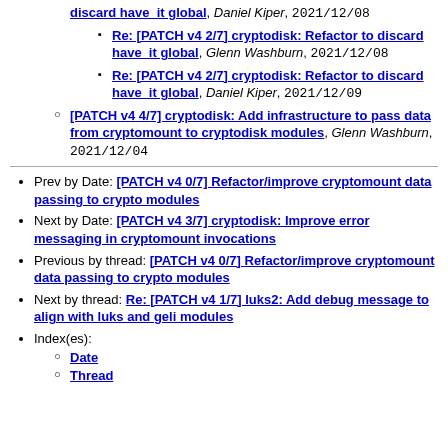Re: [PATCH v4 2/7] cryptodisk: Refactor to discard have_it global, Glenn Washburn, 2021/12/08
Re: [PATCH v4 2/7] cryptodisk: Refactor to discard have_it global, Daniel Kiper, 2021/12/09
[PATCH v4 4/7] cryptodisk: Add infrastructure to pass data from cryptomount to cryptodisk modules, Glenn Washburn, 2021/12/04
Prev by Date: [PATCH v4 0/7] Refactor/improve cryptomount data passing to crypto modules
Next by Date: [PATCH v4 3/7] cryptodisk: Improve error messaging in cryptomount invocations
Previous by thread: [PATCH v4 0/7] Refactor/improve cryptomount data passing to crypto modules
Next by thread: Re: [PATCH v4 1/7] luks2: Add debug message to align with luks and geli modules
Index(es):
Date
Thread